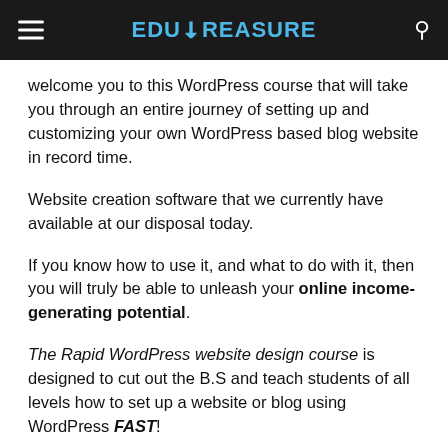EDUTREASURE
welcome you to this WordPress course that will take you through an entire journey of setting up and customizing your own WordPress based blog website in record time.
Website creation software that we currently have available at our disposal today.
If you know how to use it, and what to do with it, then you will truly be able to unleash your online income-generating potential.
The Rapid WordPress website design course is designed to cut out the B.S and teach students of all levels how to set up a website or blog using WordPress FAST!
Here is just a bit about what you will learn